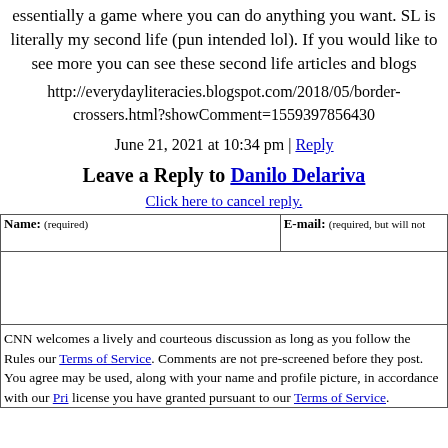essentially a game where you can do anything you want. SL is literally my second life (pun intended lol). If you would like to see more you can see these second life articles and blogs
http://everydayliteracies.blogspot.com/2018/05/border-crossers.html?showComment=1559397856430
June 21, 2021 at 10:34 pm | Reply
Leave a Reply to Danilo Delariva
Click here to cancel reply.
Name: (required)   E-mail: (required, but will not
CNN welcomes a lively and courteous discussion as long as you follow the Rules our Terms of Service. Comments are not pre-screened before they post. You agree may be used, along with your name and profile picture, in accordance with our Pri license you have granted pursuant to our Terms of Service.